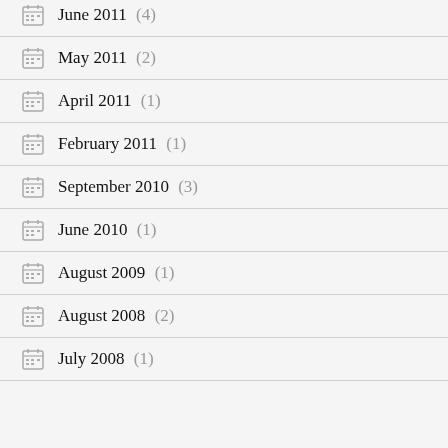June 2011 (4)
May 2011 (2)
April 2011 (1)
February 2011 (1)
September 2010 (3)
June 2010 (1)
August 2009 (1)
August 2008 (2)
July 2008 (1)